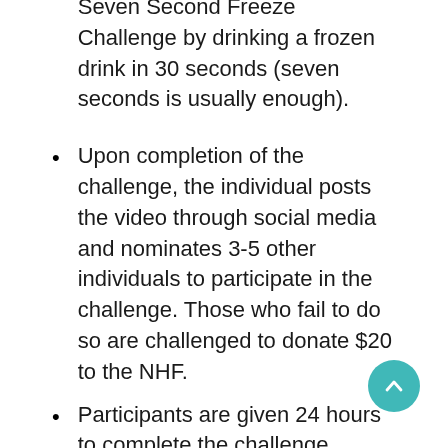Participants will record themselves taking the Seven Second Freeze Challenge by drinking a frozen drink in 30 seconds (seven seconds is usually enough).
Upon completion of the challenge, the individual posts the video through social media and nominates 3-5 other individuals to participate in the challenge. Those who fail to do so are challenged to donate $20 to the NHF.
Participants are given 24 hours to complete the challenge.
Those taking the Seven Second Freeze Challenge and issuing challenges to others are encouraged to share their videos on social media platforms using the hashtag #NHFreeze.
To donate, use NHF's secure online portal: